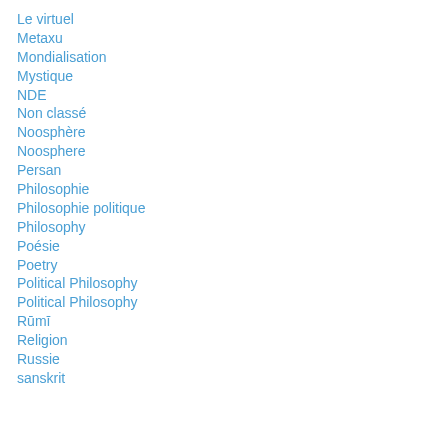Le virtuel
Metaxu
Mondialisation
Mystique
NDE
Non classé
Noosphère
Noosphere
Persan
Philosophie
Philosophie politique
Philosophy
Poésie
Poetry
Political Philosophy
Political Philosophy
Rūmī
Religion
Russie
sanskrit